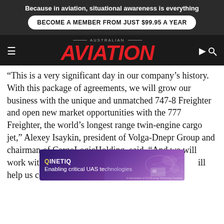Because in aviation, situational awareness is everything
BECOME A MEMBER FROM JUST $99.95 A YEAR
[Figure (logo): Australian Aviation magazine logo with red italic AVIATION text]
“This is a very significant day in our company’s history. With this package of agreements, we will grow our business with the unique and unmatched 747-8 Freighter and open new market opportunities with the 777 Freighter, the world’s longest range twin-engine cargo jet,” Alexey Isaykin, president of Volga-Dnepr Group and chairman of CargoLogicHolding, said. “And we will work with Boeing [...]ill help us continue to serve the unique and fast-
[Figure (illustration): QinetiQ advertisement banner: purple/violet gradient background with drone/UAS imagery, text reads QINETIQ Enabling critical UAS technologies]